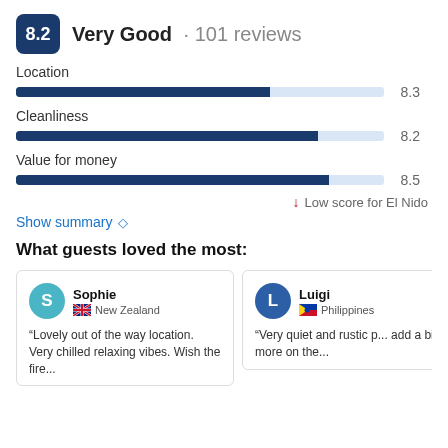8.2 Very Good · 101 reviews
[Figure (bar-chart): Rating categories]
↓ Low score for El Nido
Show summary ◇
What guests loved the most:
Sophie — New Zealand — "Lovely out of the way location. Very chilled relaxing vibes. Wish the fire..."
Luigi — Philippines — "Very quiet and rustic p... add a bit more on the..."